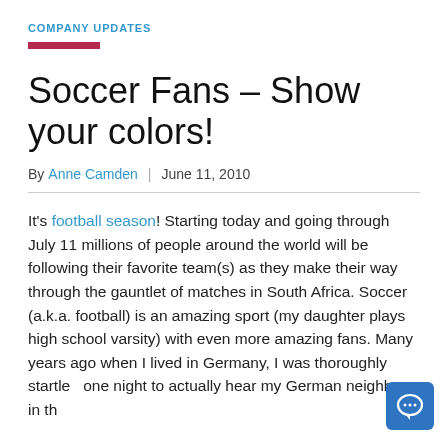COMPANY UPDATES
Soccer Fans – Show your colors!
By Anne Camden | June 11, 2010
It's football season! Starting today and going through July 11 millions of people around the world will be following their favorite team(s) as they make their way through the gauntlet of matches in South Africa. Soccer (a.k.a. football) is an amazing sport (my daughter plays high school varsity) with even more amazing fans. Many years ago when I lived in Germany, I was thoroughly startled one night to actually hear my German neighbors in th... to a long partment as a matter in the iron. On the...